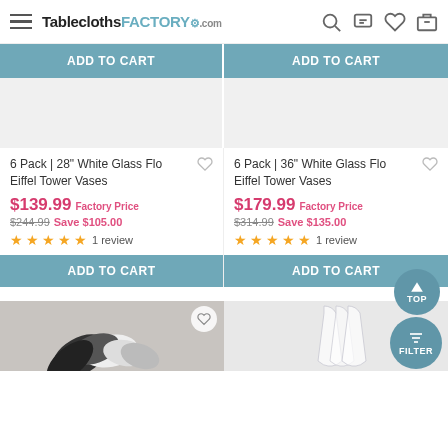TableclothsFACTORY.com
ADD TO CART
ADD TO CART
6 Pack | 28" White Glass Flo Eiffel Tower Vases
$139.99 Factory Price $244.99 Save $105.00 ★★★★★ 1 review
ADD TO CART
6 Pack | 36" White Glass Flo Eiffel Tower Vases
$179.99 Factory Price $314.99 Save $135.00 ★★★★★ 1 review
ADD TO CART
[Figure (photo): Black and white feathers product photo]
[Figure (photo): Clear glass Eiffel Tower vase product photo]